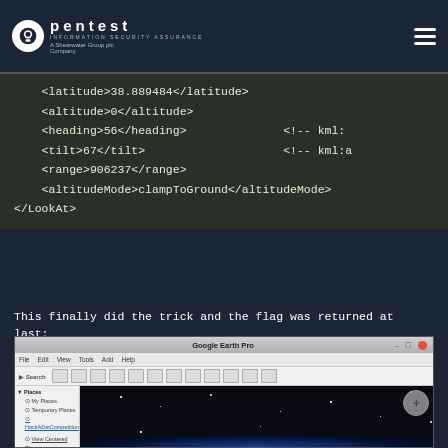Pentest — Information Security Assurance. A Shearwater Group plc Company
<latitude>38.889484</latitude>
    <altitude>0</altitude>
    <heading>56</heading>                <!-- kml:
    <tilt>67</tilt>                    <!-- kml:a
    <range>906237</range>
    <altitudeMode>clampToGround</altitudeMode>
</LookAt>
This finally did the trick and the flag was returned at last:
[Figure (screenshot): Google Earth Pro application window showing the sidebar with Places panel including My Places, Temporary Places, HackADatCompetition and View Centered Places items. The main view shows a dark night sky with scattered stars.]